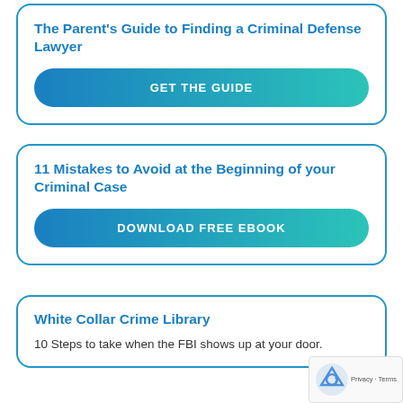The Parent's Guide to Finding a Criminal Defense Lawyer
GET THE GUIDE
11 Mistakes to Avoid at the Beginning of your Criminal Case
DOWNLOAD FREE EBOOK
White Collar Crime Library
10 Steps to take when the FBI shows up at your door.